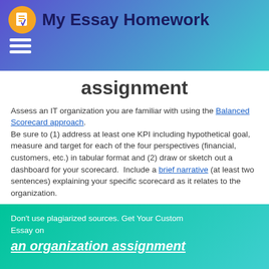My Essay Homework
assignment
Assess an IT organization you are familiar with using the Balanced Scorecard approach. Be sure to (1) address at least one KPI including hypothetical goal, measure and target for each of the four perspectives (financial, customers, etc.) in tabular format and (2) draw or sketch out a dashboard for your scorecard. Include a brief narrative (at least two sentences) explaining your specific scorecard as it relates to the organization.
Don't use plagiarized sources. Get Your Custom Essay on